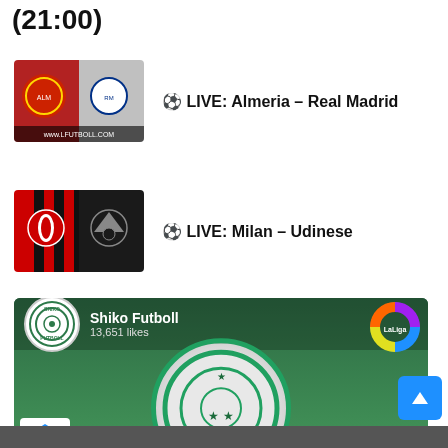(21:00)
[Figure (photo): Thumbnail showing Almeria vs Real Madrid logos on red/gray background with www.LFUTBOLL.COM text]
⚽ LIVE: Almeria - Real Madrid
[Figure (photo): Thumbnail showing AC Milan vs Udinese logos on red/black background]
⚽ LIVE: Milan - Udinese
[Figure (screenshot): Shiko Futboll Facebook page widget showing logo, 13,651 likes, Like Page and Share buttons, with LaLiga and Bundesliga badges]